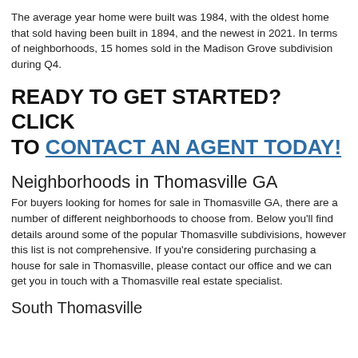The average year home were built was 1984, with the oldest home that sold having been built in 1894, and the newest in 2021. In terms of neighborhoods, 15 homes sold in the Madison Grove subdivision during Q4.
READY TO GET STARTED? CLICK TO CONTACT AN AGENT TODAY!
Neighborhoods in Thomasville GA
For buyers looking for homes for sale in Thomasville GA, there are a number of different neighborhoods to choose from. Below you'll find details around some of the popular Thomasville subdivisions, however this list is not comprehensive. If you're considering purchasing a house for sale in Thomasville, please contact our office and we can get you in touch with a Thomasville real estate specialist.
South Thomasville